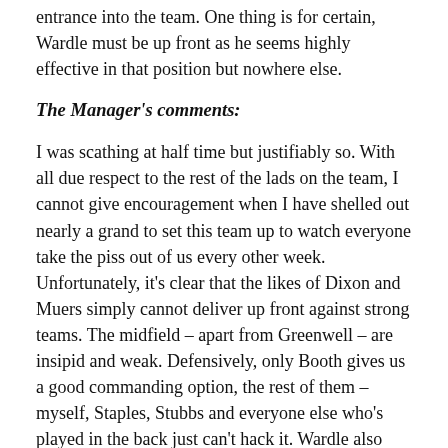entrance into the team. One thing is for certain, Wardle must be up front as he seems highly effective in that position but nowhere else.
The Manager's comments:
I was scathing at half time but justifiably so. With all due respect to the rest of the lads on the team, I cannot give encouragement when I have shelled out nearly a grand to set this team up to watch everyone take the piss out of us every other week. Unfortunately, it's clear that the likes of Dixon and Muers simply cannot deliver up front against strong teams. The midfield – apart from Greenwell – are insipid and weak. Defensively, only Booth gives us a good commanding option, the rest of them – myself, Staples, Stubbs and everyone else who's played in the back just can't hack it. Wardle also must come in for heavy criticism. He's an attacker and our only choice for scoring goa… seems to spend his time playing at the back while ev… else is missing chances up front. We missed McNerney…